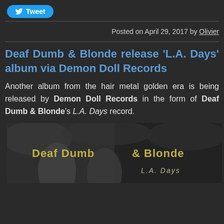[Figure (other): Twitter Tweet button (blue pill-shaped button with bird icon and 'Tweet' text)]
Posted on April 29, 2017 by Olivier
Deaf Dumb & Blonde release 'L.A. Days' album via Demon Doll Records
Another album from the hair metal golden era is being released by Demon Doll Records in the form of Deaf Dumb & Blonde's L.A. Days record.
[Figure (photo): Album cover for Deaf Dumb & Blonde 'L.A. Days' — black and white photo of two long-haired blonde figures with band name 'Deaf Dumb & Blonde' and album title 'L.A. Days' overlaid in stylized text]